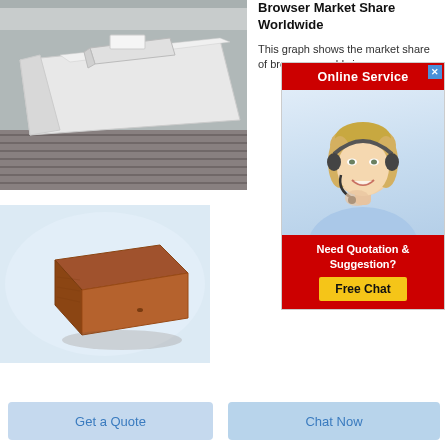[Figure (photo): White foam/insulation panels on a conveyor or rack in an industrial setting]
[Figure (photo): A brown refractory or firebrick on a white background]
Browser Market Share Worldwide
This graph shows the market share of browsers worldwide
[Figure (infographic): Online Service popup banner with a smiling woman wearing a headset, and a red background with 'Online Service' header, 'Need Quotation & Suggestion?' text, and 'Free Chat' yellow button]
Get a Quote
Chat Now